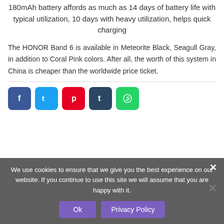180mAh battery affords as much as 14 days of battery life with typical utilization, 10 days with heavy utilization, helps quick charging
The HONOR Band 6 is available in Meteorite Black, Seagull Gray, in addition to Coral Pink colors. After all, the worth of this system in China is cheaper than the worldwide price ticket.
[Figure (other): Social sharing buttons: Facebook (blue), Twitter (cyan), Pinterest (red), Tumblr (dark navy), WhatsApp (green)]
We use cookies to ensure that we give you the best experience on our website. If you continue to use this site we will assume that you are happy with it.